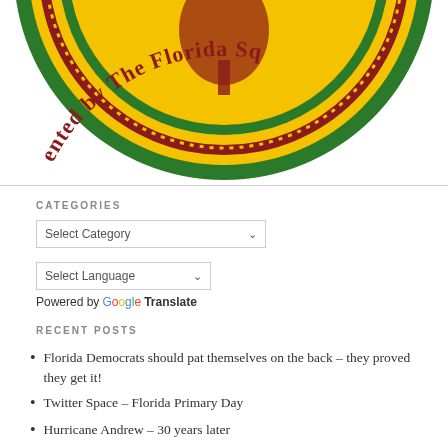[Figure (logo): Circular logo with green, red, and gold colors reading 'presented by The Florida Sq...' with decorative dotted border and tree motif]
CATEGORIES
Select Category (dropdown)
Select Language (dropdown)
Powered by Google Translate
RECENT POSTS
Florida Democrats should pat themselves on the back – they proved they get it!
Twitter Space – Florida Primary Day
Hurricane Andrew – 30 years later
TFS Primary Day Coverage – Twitter Space & YouTube stream
TFS August Endorsements – School Board